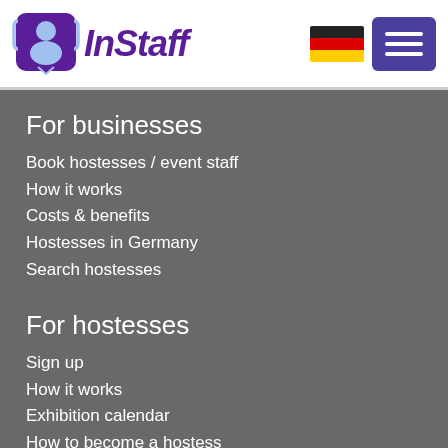InStaff
For businesses
Book hostesses / event staff
How it works
Costs & benefits
Hostesses in Germany
Search hostesses
For hostesses
Sign up
How it works
Exhibition calendar
How to become a hostess
Contact
InStaff & Jobs GmbH